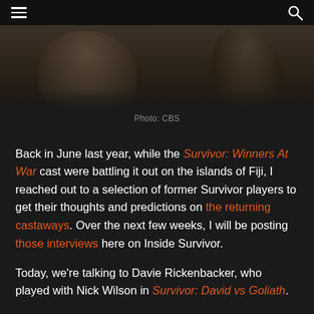≡  🔍
[Figure (photo): Two people in outdoor/jungle setting, one in a blue shirt, partial view of upper bodies against a dark background]
Photo: CBS
Back in June last year, while the Survivor: Winners At War cast were battling it out on the islands of Fiji, I reached out to a selection of former Survivor players to get their thoughts and predictions on the returning castaways. Over the next few weeks, I will be posting those interviews here on Inside Survivor.
Today, we're talking to Davie Rickenbacker, who played with Nick Wilson in Survivor: David vs Goliath.